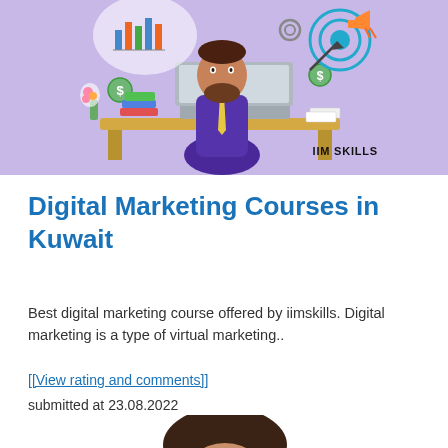[Figure (illustration): IIM SKILLS banner with purple background showing a bearded man in a suit sitting at a laptop with charts, marketing icons, dollar signs, and a target bullseye around him. Text 'IIM SKILLS' in bottom right.]
Digital Marketing Courses in Kuwait
Best digital marketing course offered by iimskills. Digital marketing is a type of virtual marketing..
[[View rating and comments]]
submitted at 23.08.2022
[Figure (photo): Partial photo of a person's head and upper face, dark hair, appearing to be a profile or headshot image cropped at bottom of page.]